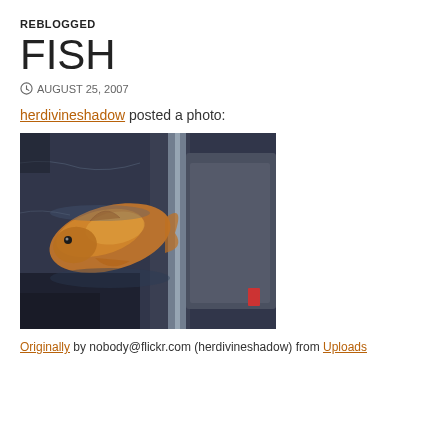REBLOGGED
FISH
AUGUST 25, 2007
herdivineshadow posted a photo:
[Figure (photo): A fish (goldfish/koi) in a plastic bag with water, photographed from above showing the fish against dark background with a plastic bag seam visible]
Originally by nobody@flickr.com (herdivineshadow) from Uploads